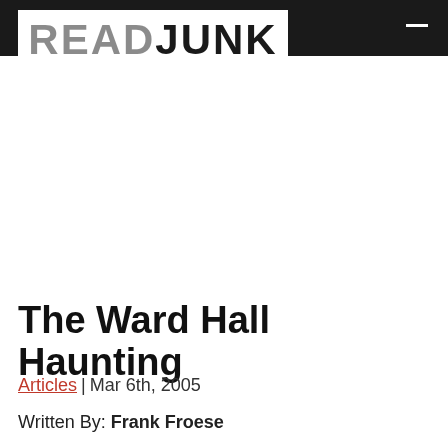READ JUNK
The Ward Hall Haunting
Articles | Mar 6th, 2005
Written By: Frank Froese